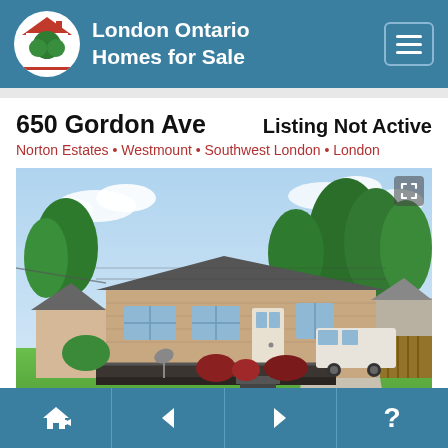London Ontario Homes for Sale
650 Gordon Ave
Listing Not Active
Norton Estates • Westmount • Southwest London • London
[Figure (photo): Exterior photo of a brick ranch-style home at 650 Gordon Ave with a large front deck, green lawn, trees, and an RV parked to the right side.]
Navigation bar with home, back arrow, forward arrow, and help icons